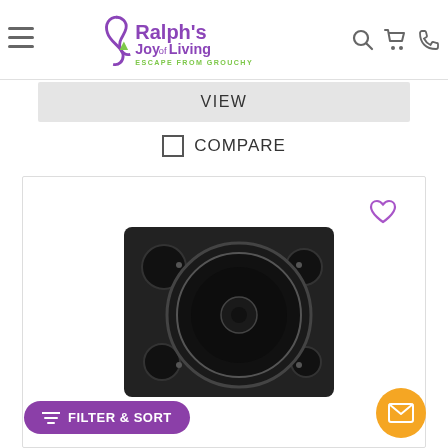Ralph's Joy of Living — ESCAPE FROM GROUCHY
VIEW
COMPARE
[Figure (photo): Black subwoofer speaker cabinet with large circular woofer driver and round port holes on front panel]
FILTER & SORT